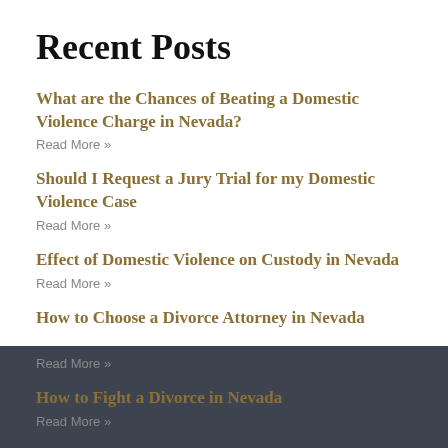Recent Posts
What are the Chances of Beating a Domestic Violence Charge in Nevada?
Read More »
Should I Request a Jury Trial for my Domestic Violence Case
Read More »
Effect of Domestic Violence on Custody in Nevada
Read More »
How to Choose a Divorce Attorney in Nevada
Read More »
How to Fight a Divorce in Nevada
Read More »